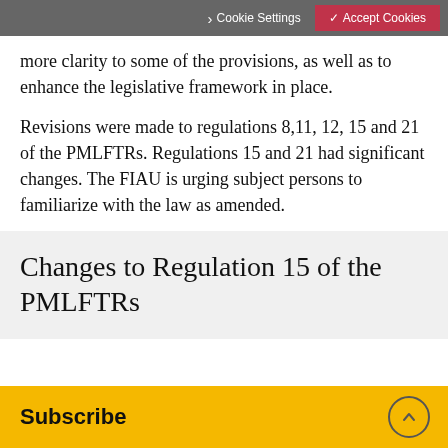Cookie Settings  ✓ Accept Cookies
more clarity to some of the provisions, as well as to enhance the legislative framework in place.
Revisions were made to regulations 8,11, 12, 15 and 21 of the PMLFTRs. Regulations 15 and 21 had significant changes. The FIAU is urging subject persons to familiarize with the law as amended.
Changes to Regulation 15 of the PMLFTRs
Subscribe